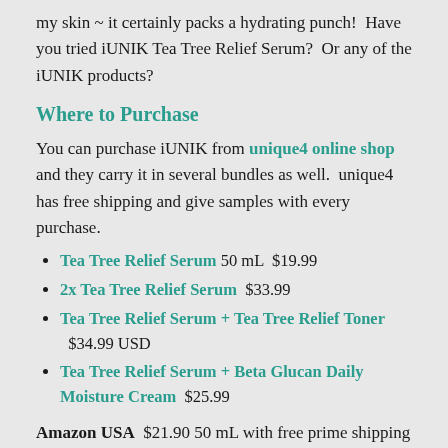my skin ~ it certainly packs a hydrating punch!  Have you tried iUNIK Tea Tree Relief Serum?  Or any of the iUNIK products?
Where to Purchase
You can purchase iUNIK from unique4 online shop and they carry it in several bundles as well.  unique4 has free shipping and give samples with every purchase.
Tea Tree Relief Serum 50 mL  $19.99
2x Tea Tree Relief Serum  $33.99
Tea Tree Relief Serum + Tea Tree Relief Toner $34.99 USD
Tea Tree Relief Serum + Beta Glucan Daily Moisture Cream  $25.99
Amazon USA  $21.90 50 mL with free prime shipping (click here)